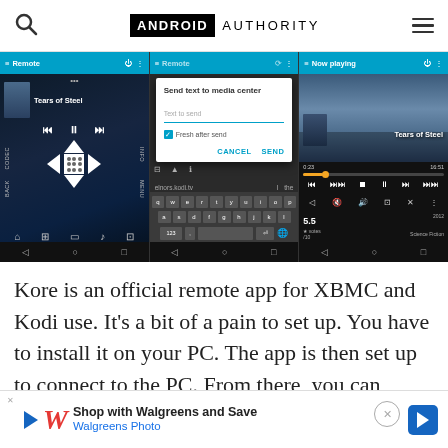Android Authority
[Figure (screenshot): Three Android app screenshots showing the Kore remote app for XBMC/Kodi: (1) Remote control screen with D-pad and playback controls showing 'Tears of Steel', (2) Send text to media center dialog with keyboard, (3) Now playing screen for 'Tears of Steel' with playback controls and progress bar]
Kore is an official remote app for XBMC and Kodi use. It’s a bit of a pain to set up. You have to install it on your PC. The app is then set up to connect to the PC. From there, you can control everything fro...